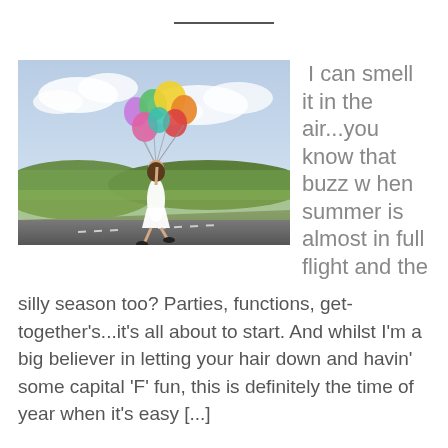[Figure (photo): A young woman in a white dress walking on a road holding a bunch of colorful balloons, with green fields and a cloudy sky in the background.]
I can smell it in the air...you know that buzz when summer is almost in full flight and the silly season too? Parties, functions, get-together's...it's all about to start. And whilst I'm a big believer in letting your hair down and havin' some capital 'F' fun, this is definitely the time of year when it's easy [...]